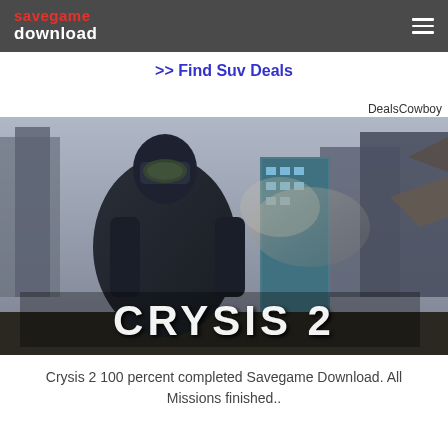savegame download
>> Find Suv Deals
DealsCowboy
[Figure (photo): Crysis 2 video game promotional image showing armored soldier in a destroyed city with 'CRYSIS 2' logo]
Crysis 2 100 percent completed Savegame Download. All Missions finished..